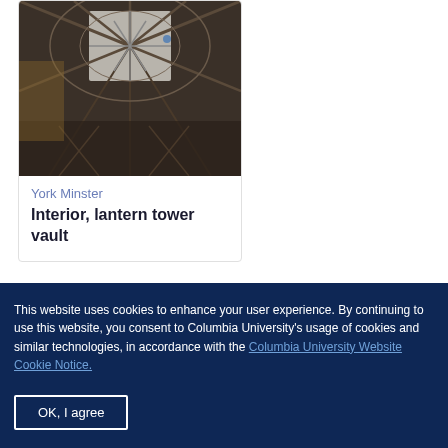[Figure (photo): Interior view of York Minster lantern tower vault, showing ornate Gothic stone vaulting with ribbed patterns photographed from below looking up.]
York Minster
Interior, lantern tower vault
This website uses cookies to enhance your user experience. By continuing to use this website, you consent to Columbia University’s usage of cookies and similar technologies, in accordance with the Columbia University Website Cookie Notice.
OK, I agree